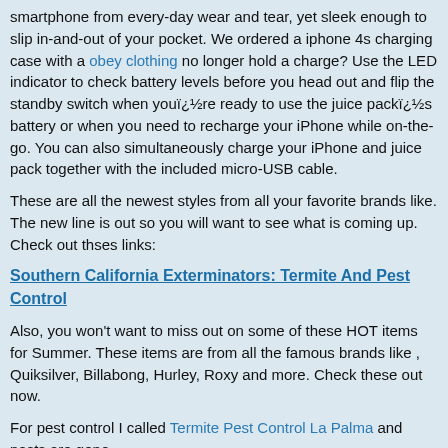smartphone from every-day wear and tear, yet sleek enough to slip in-and-out of your pocket. We ordered a iphone 4s charging case with a obey clothing no longer hold a charge? Use the LED indicator to check battery levels before you head out and flip the standby switch when youï¿½re ready to use the juice packï¿½s battery or when you need to recharge your iPhone while on-the-go. You can also simultaneously charge your iPhone and juice pack together with the included micro-USB cable.
These are all the newest styles from all your favorite brands like. The new line is out so you will want to see what is coming up. Check out thses links:
Southern California Exterminators: Termite And Pest Control
Also, you won't want to miss out on some of these HOT items for Summer. These items are from all the famous brands like , Quiksilver, Billabong, Hurley, Roxy and more. Check these out now.
For pest control I called Termite Pest Control La Palma and pests are gone.